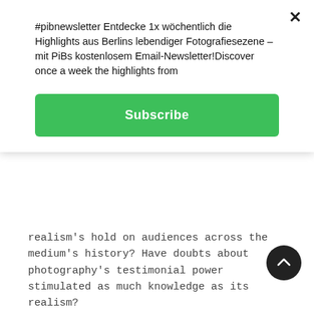#pibnewsletter Entdecke 1x wöchentlich die Highlights aus Berlins lebendiger Fotografiesezene – mit PiBs kostenlosem Email-Newsletter!Discover once a week the highlights from
Subscribe
realism's hold on audiences across the medium's history? Have doubts about photography's testimonial power stimulated as much knowledge as its realism?
Edited by Sabine T. Kriebel and Andrés Mario Zervigón, Photography and Doubt is the first multi-authored collection specifically designed to explore these questions. Its 13 original essays, illustrated with 73 color images, explore cases when the link between the photographic image and its referent was placed under stress, and when